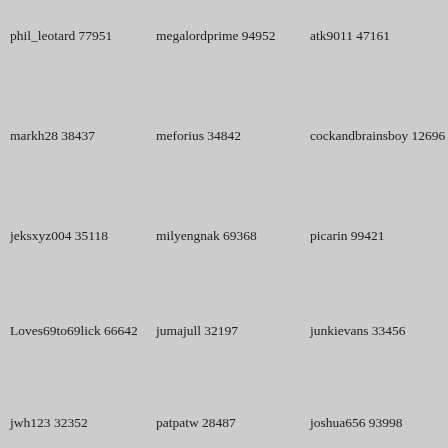phil_leotard 77951
megalordprime 94952
atk9011 47161
markh28 38437
meforius 34842
cockandbrainsboy 12696
jeksxyz004 35118
milyengnak 69368
picarin 99421
Loves69to69lick 66642
jumajull 32197
junkievans 33456
jwh123 32352
patpatw 28487
joshua656 93998